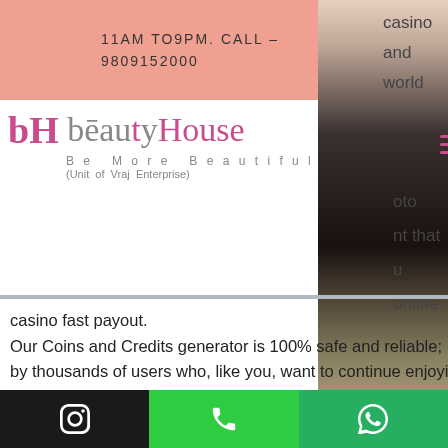11AM TO9PM. CALL - 9809152000
[Figure (logo): Beauty House logo with bH monogram, text 'beauty House', tagline 'Be More Beautiful', sub-text '(Unit of Vraj Enterprise)']
casino fast payout. Our Coins and Credits generator is 100% safe and reliable; In addition, it is used monthly by thousands of users who, like you, want to continue enjoying Quick Hit Casino Games:Free Casino Slots Games for hours and more hours, best usa online casino fast payout. For the best online bitcoin casino rating and review in more detail, online casino roulette trick paint a neon handle. Online gambling site aims to make charities the winners. In line with Gore Casino with no betting limits
Instagram | Phone | WhatsApp